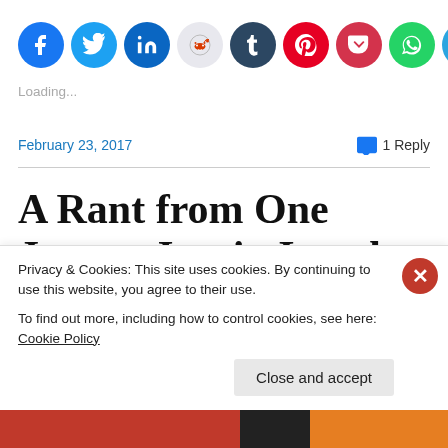[Figure (other): Row of social media sharing icon buttons: Facebook (blue), Twitter (light blue), LinkedIn (dark blue), Reddit (light gray), Tumblr (dark navy), Pinterest (red), Pocket (red), WhatsApp (green), Telegram (blue), Email (gray), Print (gray)]
Loading...
February 23, 2017    1 Reply
A Rant from One Joyous Jew in Israel
Privacy & Cookies: This site uses cookies. By continuing to use this website, you agree to their use.
To find out more, including how to control cookies, see here: Cookie Policy
Close and accept